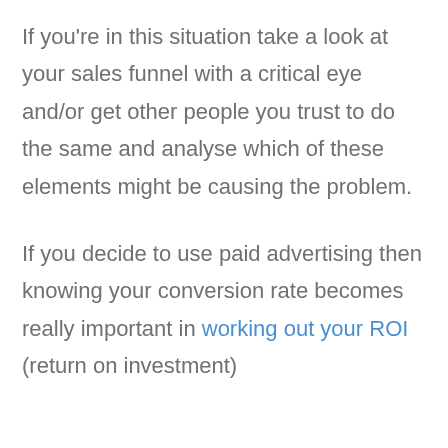If you're in this situation take a look at your sales funnel with a critical eye and/or get other people you trust to do the same and analyse which of these elements might be causing the problem.
If you decide to use paid advertising then knowing your conversion rate becomes really important in working out your ROI (return on investment)